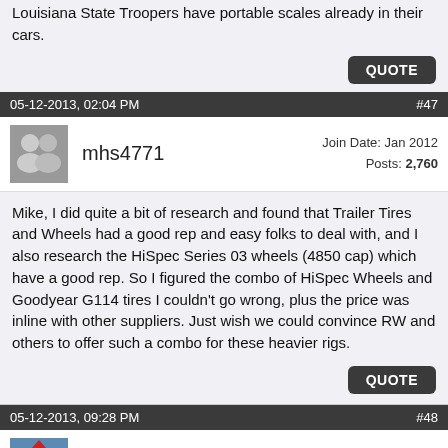Louisiana State Troopers have portable scales already in their cars.
05-12-2013, 02:04 PM  #47
mhs4771  Join Date: Jan 2012  Posts: 2,760
Mike, I did quite a bit of research and found that Trailer Tires and Wheels had a good rep and easy folks to deal with, and I also research the HiSpec Series 03 wheels (4850 cap) which have a good rep. So I figured the combo of HiSpec Wheels and Goodyear G114 tires I couldn't go wrong, plus the price was inline with other suppliers. Just wish we could convince RW and others to offer such a combo for these heavier rigs.
05-12-2013, 09:28 PM  #48
5th_Time  Join Date: Mar 2012  Posts: 1,136
Michelle,